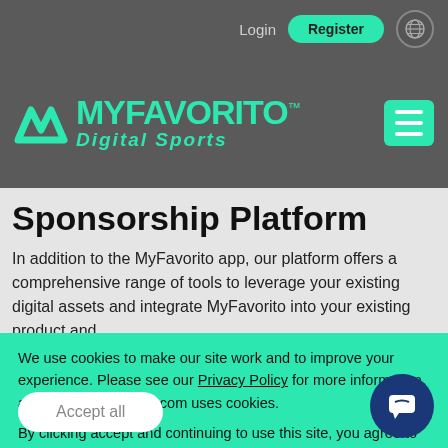Login  Register
[Figure (logo): MyFavorito logo with teal M chevron icon and MYFAVORITO text with TM mark, Digital Sports subtitle, on grey background]
Sponsorship Platform
In addition to the MyFavorito app, our platform offers a comprehensive range of tools to leverage your existing digital assets and integrate MyFavorito into your existing product and
We use cookies to make our site work and to improve your experience. Please see our Privacy Policy for more information about how myfavorito.com uses cookies.

By clicking accept and continuing to use this site, you agree to our use of cookies.
Accept all